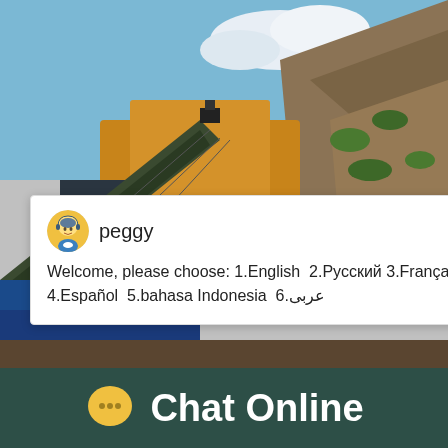[Figure (photo): Industrial mining/quarry machinery — large yellow conveyor and crushing equipment on a hillside with rocky terrain and blue sky with clouds]
[Figure (screenshot): Live chat popup with agent avatar named 'peggy'. Message: 'Welcome, please choose: 1.English 2.Русский 3.Français 4.Español 5.bahasa Indonesia 6.عربى']
Henan Factory Supply B... Portable Jaw Stone...
[Figure (screenshot): Teal chat widget on right side with emoji icons, badge showing '1', 'Click me to chat >>' button, and 'Enquiry' button]
Chat Online